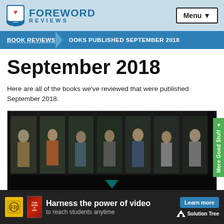FOREWORD REVIEWS
BOOK REVIEWS › BOOKS PUBLISHED SEPTEMBER 2018
September 2018
Here are all of the books we've reviewed that were published September 2018.
[Figure (photo): Photo of people visible through windows of a bus or train, dark tones]
[Figure (infographic): Advertisement banner: Harness the power of video to reach students anytime. Learn more. Solution Tree.]